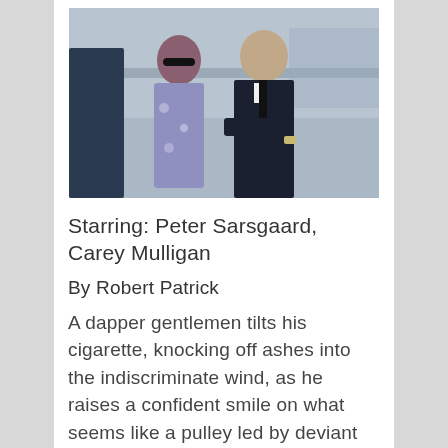[Figure (photo): Two people walking outdoors near water — a woman in a floral dress with sunglasses and a man in a dark suit with a black tie, arms crossed.]
Starring: Peter Sarsgaard, Carey Mulligan
By Robert Patrick
A dapper gentlemen tilts his cigarette, knocking off ashes into the indiscriminate wind, as he raises a confident smile on what seems like a pulley led by deviant thoughts. The man in